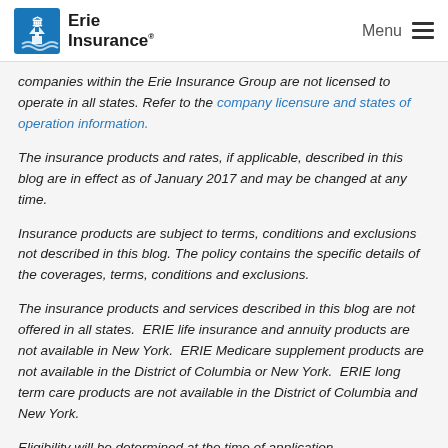Erie Insurance — Menu
companies within the Erie Insurance Group are not licensed to operate in all states. Refer to the company licensure and states of operation information.
The insurance products and rates, if applicable, described in this blog are in effect as of January 2017 and may be changed at any time.
Insurance products are subject to terms, conditions and exclusions not described in this blog. The policy contains the specific details of the coverages, terms, conditions and exclusions.
The insurance products and services described in this blog are not offered in all states.  ERIE life insurance and annuity products are not available in New York.  ERIE Medicare supplement products are not available in the District of Columbia or New York.  ERIE long term care products are not available in the District of Columbia and New York.
Eligibility will be determined at the time of application...